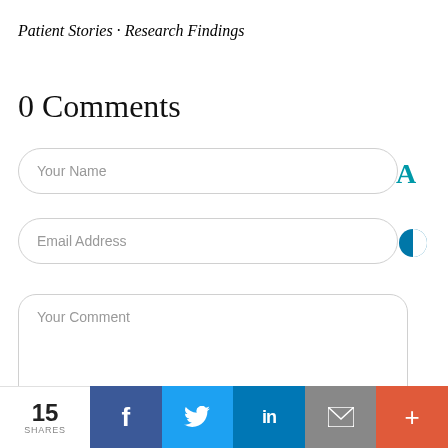Patient Stories · Research Findings
0 Comments
Your Name
Email Address
Your Comment
15 SHARES  f  Twitter  in  Email  +